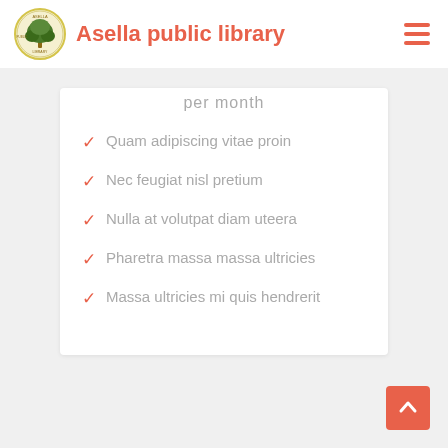Asella public library
per month
Quam adipiscing vitae proin
Nec feugiat nisl pretium
Nulla at volutpat diam uteera
Pharetra massa massa ultricies
Massa ultricies mi quis hendrerit